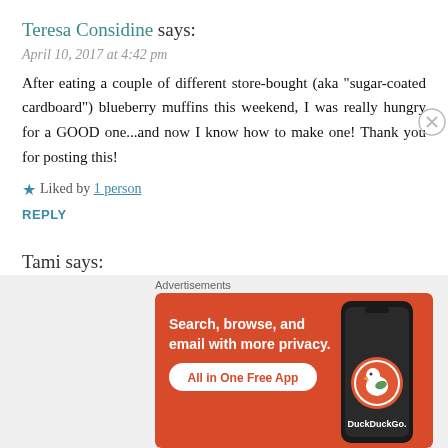Teresa Considine says:
April 10, 2017 at 4:42 pm
After eating a couple of different store-bought (aka "sugar-coated cardboard") blueberry muffins this weekend, I was really hungry for a GOOD one...and now I know how to make one! Thank you for posting this!
Liked by 1 person
REPLY
Tami says:
April 10, 2017 at 5:44 pm
[Figure (screenshot): DuckDuckGo advertisement banner: orange background with text 'Search, browse, and email with more privacy. All in One Free App' and DuckDuckGo logo with duck icon on a phone graphic.]